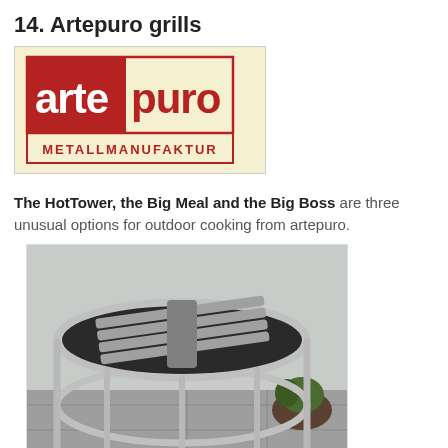14. Artepuro grills
[Figure (logo): Artepuro Metallmanufaktur logo — red square on cream background with 'arte puro' in white letters and 'METALLMANUFAKTUR' below in red text on cream]
The HotTower, the Big Meal and the Big Boss are three unusual options for outdoor cooking from artepuro.
[Figure (photo): Photo of a circular stainless steel outdoor grill/BBQ structure with a flat grill surface on top, supported by vertical and horizontal round metal bars forming a cylindrical frame, placed on a stone patio with a plant pot visible in the background]